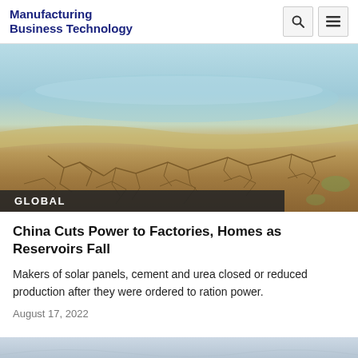Manufacturing Business Technology
[Figure (photo): Dried cracked earth near a receding reservoir or lake shoreline, showing drought conditions with cracked mud in foreground and water in background]
GLOBAL
China Cuts Power to Factories, Homes as Reservoirs Fall
Makers of solar panels, cement and urea closed or reduced production after they were ordered to ration power.
August 17, 2022
[Figure (photo): Partial view of another article image at the bottom of the page — appears to show an outdoor/sky scene]